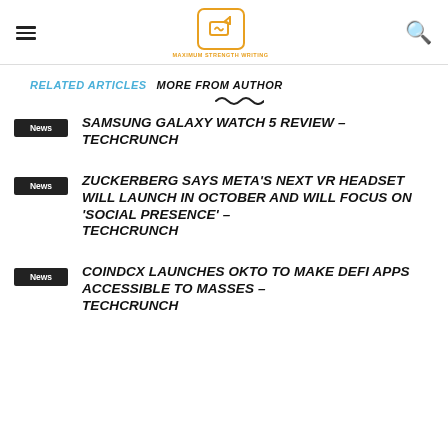MAXIMUM STRENGTH WRITING
RELATED ARTICLES   MORE FROM AUTHOR
SAMSUNG GALAXY WATCH 5 REVIEW – TECHCRUNCH
News
ZUCKERBERG SAYS META'S NEXT VR HEADSET WILL LAUNCH IN OCTOBER AND WILL FOCUS ON 'SOCIAL PRESENCE' – TECHCRUNCH
News
COINDCX LAUNCHES OKTO TO MAKE DEFI APPS ACCESSIBLE TO MASSES – TECHCRUNCH
News